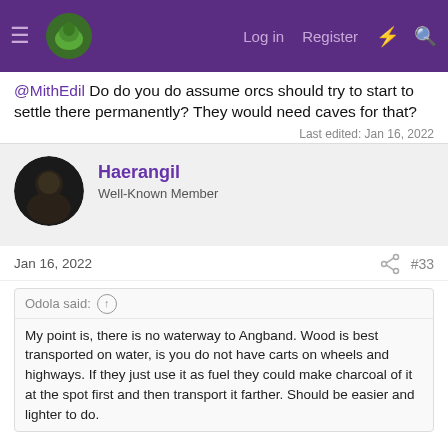Navigation bar with menu, logo, Log in, Register, and search icons
@MithEdil Do do you do assume orcs should try to start to settle there permanently? They would need caves for that?
Last edited: Jan 16, 2022
Haerangil
Well-Known Member
Jan 16, 2022
#33
Odola said: ↑
My point is, there is no waterway to Angband. Wood is best transported on water, is you do not have carts on wheels and highways. If they just use it as fuel they could make charcoal of it at the spot first and then transport it farther. Should be easier and lighter to do.
Oh i can assure you where i live are few natural waterways big enough for boats or rafts , yet we always traditionally had a big timber industry. I'd like to point out taht Orcs DO actually build...